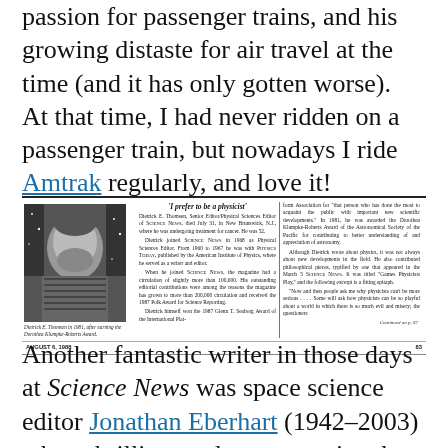passion for passenger trains, and his growing distaste for air travel at the time (and it has only gotten worse). At that time, I had never ridden on a passenger train, but nowadays I ride Amtrak regularly, and love it!
[Figure (other): Newspaper clipping with photo of Dietrick E. Thomsen. Headline: 'I prefer to be a physicist'. Three-column article obituary from Science News, August 6, 1988, page 83.]
Another fantastic writer in those days at Science News was space science editor Jonathan Eberhart (1942-2003) whose brilliant and unconventional career was sidelined by